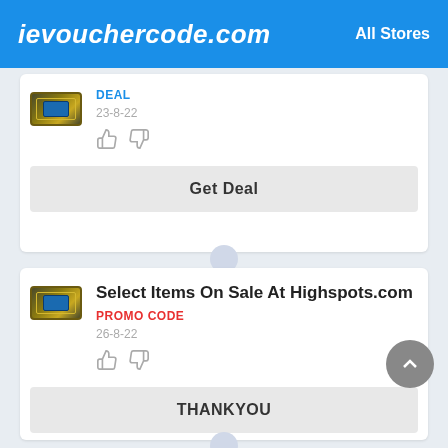ievouchercode.com   All Stores
DEAL
23-8-22
Get Deal
Select Items On Sale At Highspots.com
PROMO CODE
26-8-22
THANKYOU